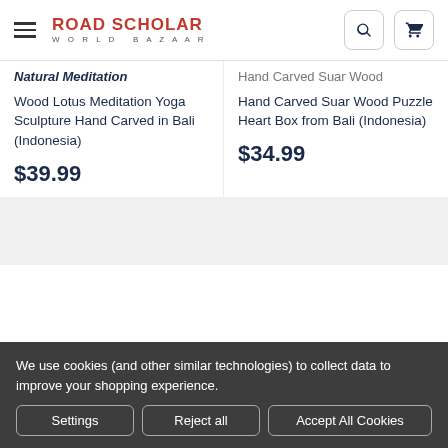Road Scholar World Bazaar
Natural Meditation
Wood Lotus Meditation Yoga Sculpture Hand Carved in Bali (Indonesia)
$39.99
Hand Carved Suar Wood Puzzle Heart Box from Bali (Indonesia)
$34.99
We use cookies (and other similar technologies) to collect data to improve your shopping experience.
Settings
Reject all
Accept All Cookies